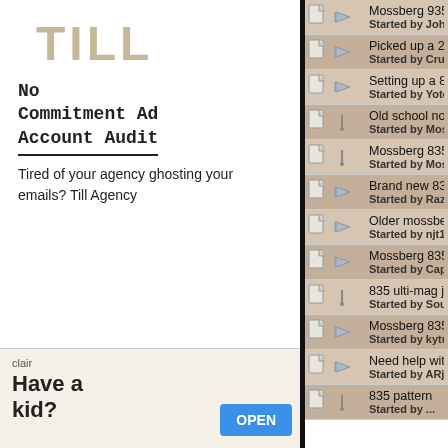[Figure (logo): TILL logo in tan/gold color]
No Commitment Ad Account Audit
Tired of your agency ghosting your emails? Till Agency
[Figure (infographic): Second ad with clair branding, Have a kid? text with OPEN button]
Mossberg 935 with 22" barrel- best c... Started by Johnhunter19
Picked up a 20" for my Mossberg 500... Started by CrustyRusty
Setting up a 835 Started by Yotehunter243
Old school non ported Mossberg 835... Started by Mossyballs
Mossberg 835 with Redhead Blackm... Started by Mossyballs
Brand new 835 with factory choke sh... Started by Razorback22
Older mossberg 835 pattern with extr... Started by njt124
Mossberg 835 factory Choke tube Started by Capt Hook
835 ulti-mag jellyhead original 3.5 lo... Started by Southernson13
Mossberg 835 With Tru Glo SSX Started by kyturkeyhunter4
Need help with 935 Started by ARjtk
835 pattern Started by ...